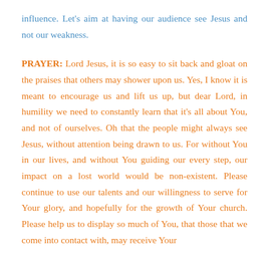influence. Let's aim at having our audience see Jesus and not our weakness.
PRAYER: Lord Jesus, it is so easy to sit back and gloat on the praises that others may shower upon us. Yes, I know it is meant to encourage us and lift us up, but dear Lord, in humility we need to constantly learn that it's all about You, and not of ourselves. Oh that the people might always see Jesus, without attention being drawn to us. For without You in our lives, and without You guiding our every step, our impact on a lost world would be non-existent. Please continue to use our talents and our willingness to serve for Your glory, and hopefully for the growth of Your church. Please help us to display so much of You, that those that we come into contact with, may receive Your